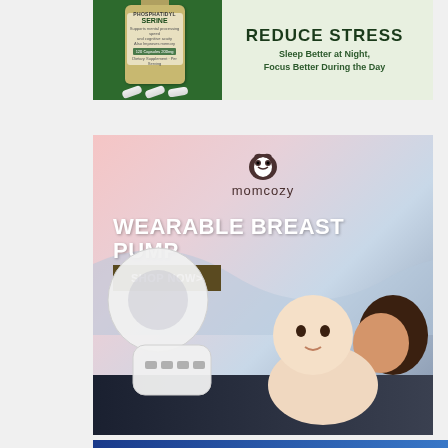[Figure (illustration): Advertisement for Phosphatidyl Serine supplement. Left side has dark green background with supplement bottle and capsules. Right side shows text 'REDUCE STRESS' in large bold font, 'Sleep Better at Night, Focus Better During the Day' below.]
[Figure (illustration): Advertisement for momcozy Wearable Breast Pump. Pink and blue wave background with penguin logo, product text 'WEARABLE BREAST PUMP', 'SHOP NOW>' button, product image on left, mother and baby on right.]
[Figure (illustration): Advertisement for Discover Cars. Blue gradient background with yellow checkbox icon and text 'DISCOVER CARS' in bold white letters.]